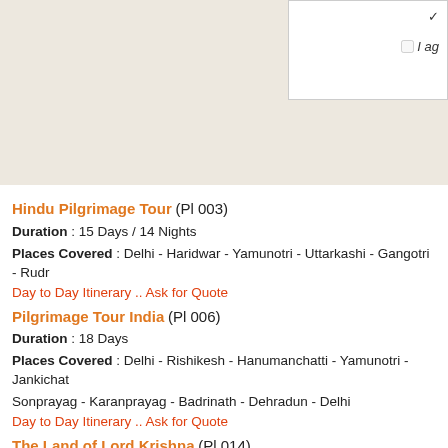[Figure (other): Beige/cream background area representing a map or decorative top section with a white panel in the top-right corner containing a checkmark icon and a checkbox with 'I ag...' text]
Hindu Pilgrimage Tour (Pl 003)
Duration : 15 Days / 14 Nights
Places Covered : Delhi - Haridwar - Yamunotri - Uttarkashi - Gangotri - Rudr...
Day to Day Itinerary .. Ask for Quote
Pilgrimage Tour India (Pl 006)
Duration : 18 Days
Places Covered : Delhi - Rishikesh - Hanumanchatti - Yamunotri - Jankichat... Sonprayag - Karanprayag - Badrinath - Dehradun - Delhi
Day to Day Itinerary .. Ask for Quote
The Land of Lord Krishna (Pl 014)
Duration : 6 Days
Places Covered : Delhi - Mathura - Gokul - Mahavan - Goverdhan - Nand Ge...
Day to Day Itinerary .. Ask for Quote